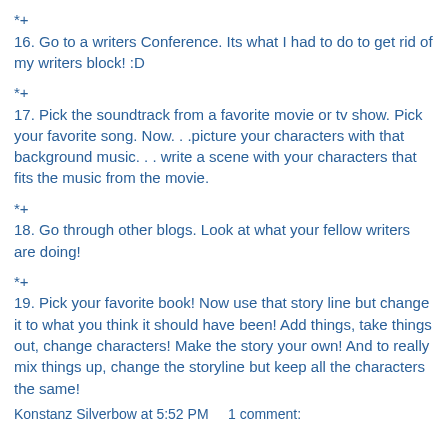*+
16. Go to a writers Conference. Its what I had to do to get rid of my writers block! :D
*+
17. Pick the soundtrack from a favorite movie or tv show. Pick your favorite song. Now. . .picture your characters with that background music. . . write a scene with your characters that fits the music from the movie.
*+
18.  Go through other blogs. Look at what your fellow writers are doing!
*+
19. Pick your favorite book! Now use that story line but change it to what you think it should have been! Add things, take things out, change characters! Make the story your own! And to really mix things up, change the storyline but keep all the characters the same!
Konstanz Silverbow at 5:52 PM     1 comment: